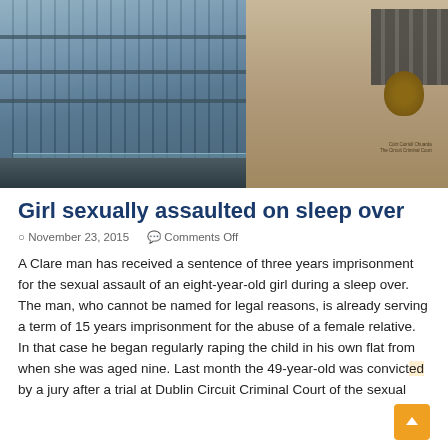[Figure (photo): Exterior photograph of a modern courthouse building (Dublin Circuit Criminal Court) showing glass and steel facade on the left, and a tan/beige curved building on the right with an Irish court emblem/crest and signage visible.]
Girl sexually assaulted on sleep over
November 23, 2015   Comments Off
A Clare man has received a sentence of three years imprisonment for the sexual assault of an eight-year-old girl during a sleep over. The man, who cannot be named for legal reasons, is already serving a term of 15 years imprisonment for the abuse of a female relative. In that case he began regularly raping the child in his own flat from when she was aged nine. Last month the 49-year-old was convicted by a jury after a trial at Dublin Circuit Criminal Court of the sexual